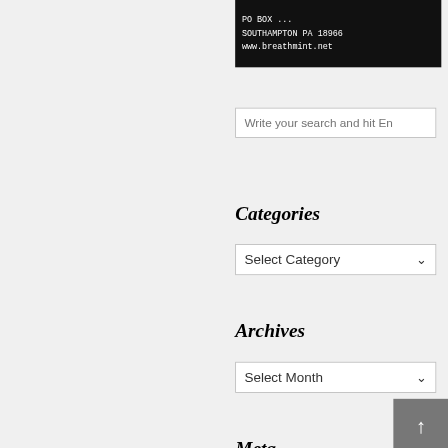[Figure (screenshot): Black background image with white monospace text showing address: 'SOUTHAMPTON PA 18966' and 'www.breathmint.net']
Write your search and hit En
Categories
Select Category
Archives
Select Month
Meta
Log in
Entries RSS
Comments RSS
WordPress.org